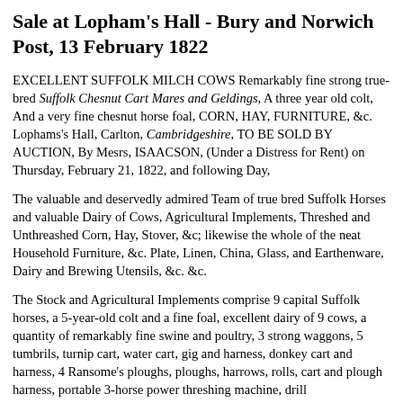Sale at Lopham's Hall - Bury and Norwich Post, 13 February 1822
EXCELLENT SUFFOLK MILCH COWS Remarkably fine strong true-bred Suffolk Chesnut Cart Mares and Geldings, A three year old colt, And a very fine chesnut horse foal, CORN, HAY, FURNITURE, &c. Lophams's Hall, Carlton, Cambridgeshire, TO BE SOLD BY AUCTION, By Mesrs, ISAACSON, (Under a Distress for Rent) on Thursday, February 21, 1822, and following Day,
The valuable and deservedly admired Team of true bred Suffolk Horses and valuable Dairy of Cows, Agricultural Implements, Threshed and Unthreashed Corn, Hay, Stover, &c; likewise the whole of the neat Household Furniture, &c. Plate, Linen, China, Glass, and Earthenware, Dairy and Brewing Utensils, &c. &c.
The Stock and Agricultural Implements comprise 9 capital Suffolk horses, a 5-year-old colt and a fine foal, excellent dairy of 9 cows, a quantity of remarkably fine swine and poultry, 3 strong waggons, 5 tumbrils, turnip cart, water cart, gig and harness, donkey cart and harness, 4 Ransome's ploughs, ploughs, harrows, rolls, cart and plough harness, portable 3-horse power threshing machine, drill machine, beating machine, and other agricultural implements.